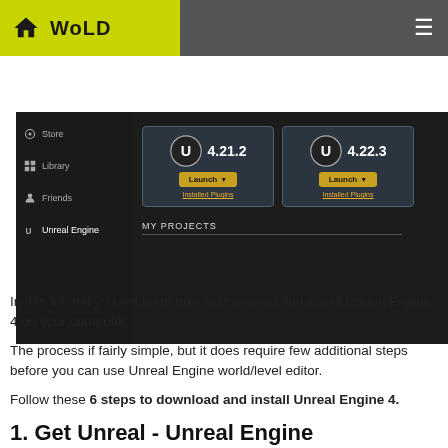WoLD
[Figure (screenshot): Epic Games Launcher showing Unreal Engine versions 4.21.2 and 4.22.3 with Launch buttons, sidebar menu with Store, Library, Friends, Unreal Engine, and MY PROJECTS section]
In this tutorial you will learn how to download and install Unreal Engine 4 on your computer.
The process if fairly simple, but it does require few additional steps before you can use Unreal Engine world/level editor.
Follow these 6 steps to download and install Unreal Engine 4.
1. Get Unreal - Unreal Engine Launcher